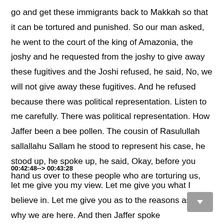go and get these immigrants back to Makkah so that it can be tortured and punished. So our man asked, he went to the court of the king of Amazonia, the joshy and he requested from the joshy to give away these fugitives and the Joshi refused, he said, No, we will not give away these fugitives. And he refused because there was political representation. Listen to me carefully. There was political representation. How Jaffer been a bee pollen. The cousin of Rasulullah sallallahu Sallam he stood to represent his case, he stood up, he spoke up, he said, Okay, before you hand us over to these people who are torturing us,
00:42:48--> 00:43:28
let me give you my view. Let me give you what I believe in. Let me give you as to the reasons as to why we are here. And then Jaffer spoke